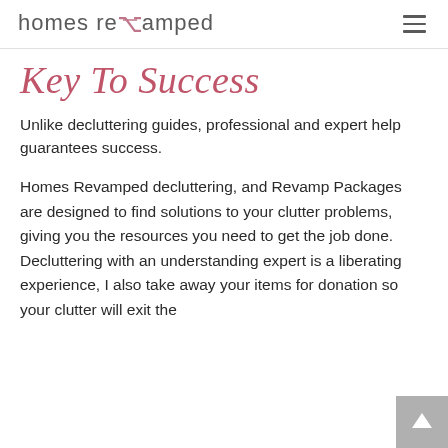homes revamped
Key To Success
Unlike decluttering guides, professional and expert help guarantees success.
Homes Revamped decluttering, and Revamp Packages are designed to find solutions to your clutter problems, giving you the resources you need to get the job done. Decluttering with an understanding expert is a liberating experience, I also take away your items for donation so your clutter will exit the